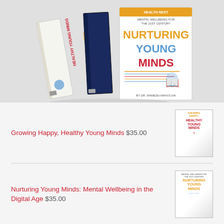[Figure (photo): Three book covers fanned out: Growing Happy Healthy Young Minds, Nurturing Young Minds (spine), and Nurturing Young Minds: Mental Wellbeing for the 21st Century (front cover). Books are shown in a 3D stacked arrangement on a grey background.]
Growing Happy, Healthy Young Minds $35.00
[Figure (photo): Thumbnail of Growing Happy, Healthy Young Minds book cover]
Nurturing Young Minds: Mental Wellbeing in the Digital Age $35.00
[Figure (photo): Thumbnail of Nurturing Young Minds book cover]
Latest Articles